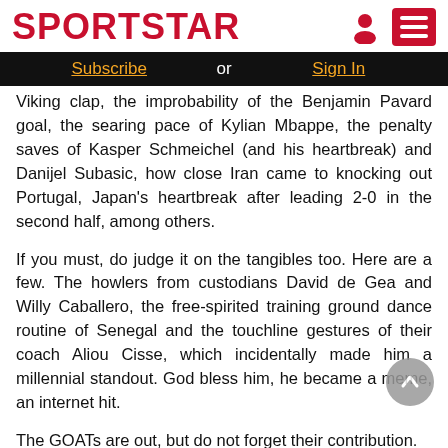SPORTSTAR
Subscribe or Sign In
Viking clap, the improbability of the Benjamin Pavard goal, the searing pace of Kylian Mbappe, the penalty saves of Kasper Schmeichel (and his heartbreak) and Danijel Subasic, how close Iran came to knocking out Portugal, Japan's heartbreak after leading 2-0 in the second half, among others.
If you must, do judge it on the tangibles too. Here are a few. The howlers from custodians David de Gea and Willy Caballero, the free-spirited training ground dance routine of Senegal and the touchline gestures of their coach Aliou Cisse, which incidentally made him a millennial standout. God bless him, he became a meme, an internet hit.
The GOATs are out, but do not forget their contribution.